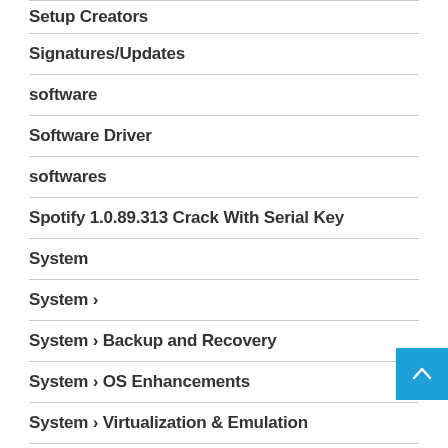Setup Creators
Signatures/Updates
software
Software Driver
softwares
Spotify 1.0.89.313 Crack With Serial Key
System
System ›
System › Backup and Recovery
System › OS Enhancements
System › Virtualization & Emulation
System Enhancements